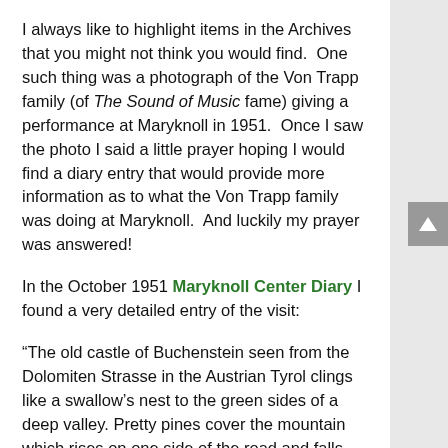I always like to highlight items in the Archives that you might not think you would find.  One such thing was a photograph of the Von Trapp family (of The Sound of Music fame) giving a performance at Maryknoll in 1951.  Once I saw the photo I said a little prayer hoping I would find a diary entry that would provide more information as to what the Von Trapp family was doing at Maryknoll.  And luckily my prayer was answered!
In the October 1951 Maryknoll Center Diary I found a very detailed entry of the visit:
“The old castle of Buchenstein seen from the Dolomiten Strasse in the Austrian Tyrol clings like a swallow’s nest to the green sides of a deep valley. Pretty pines cover the mountain which rises on one side of the road and falls away on the other down